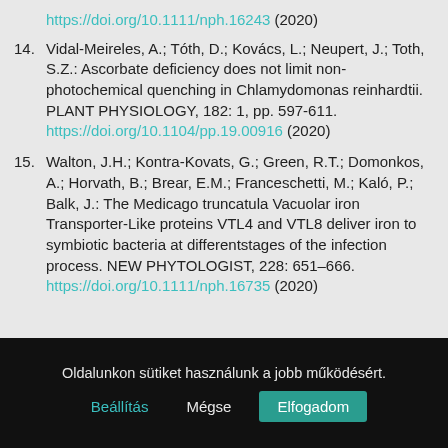https://doi.org/10.1111/nph.16243 (2020)
14. Vidal-Meireles, A.; Tóth, D.; Kovács, L.; Neupert, J.; Toth, S.Z.: Ascorbate deficiency does not limit non-photochemical quenching in Chlamydomonas reinhardtii. PLANT PHYSIOLOGY, 182: 1, pp. 597-611. https://doi.org/10.1104/pp.19.00916 (2020)
15. Walton, J.H.; Kontra-Kovats, G.; Green, R.T.; Domonkos, A.; Horvath, B.; Brear, E.M.; Franceschetti, M.; Kaló, P.; Balk, J.: The Medicago truncatula Vacuolar iron Transporter-Like proteins VTL4 and VTL8 deliver iron to symbiotic bacteria at differentstages of the infection process. NEW PHYTOLOGIST, 228: 651–666. https://doi.org/10.1111/nph.16735 (2020)
Oldalunkon sütiket használunk a jobb működésért.
Beállítás   Mégse   Elfogadom